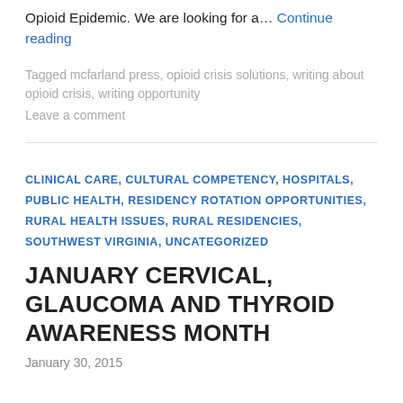Opioid Epidemic. We are looking for a… Continue reading
Tagged mcfarland press, opioid crisis solutions, writing about opioid crisis, writing opportunity
Leave a comment
CLINICAL CARE, CULTURAL COMPETENCY, HOSPITALS, PUBLIC HEALTH, RESIDENCY ROTATION OPPORTUNITIES, RURAL HEALTH ISSUES, RURAL RESIDENCIES, SOUTHWEST VIRGINIA, UNCATEGORIZED
JANUARY CERVICAL, GLAUCOMA AND THYROID AWARENESS MONTH
January 30, 2015